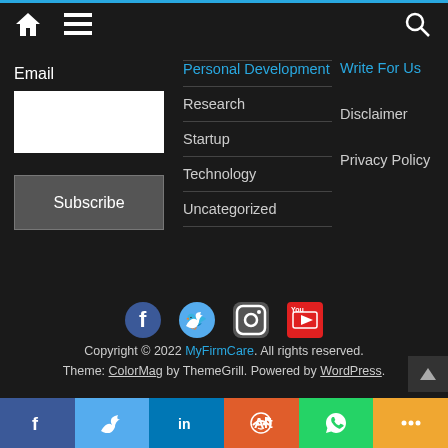Navigation bar with home, menu, and search icons
Email
Personal Development
Research
Startup
Technology
Uncategorized
Write For Us
Disclaimer
Privacy Policy
[Figure (infographic): Social media icons: Facebook, Twitter, Instagram, YouTube]
Copyright © 2022 MyFirmCare. All rights reserved. Theme: ColorMag by ThemeGrill. Powered by WordPress.
Share bar with Facebook, Twitter, LinkedIn, Reddit, WhatsApp, More icons